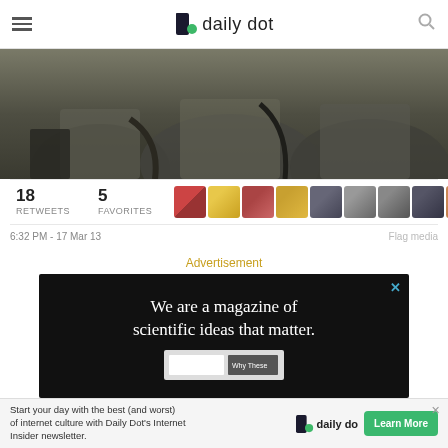daily dot
[Figure (photo): Dark photo of people sitting closely together, showing lower bodies and jackets, appears to be on public transit or crowded seating]
18 RETWEETS   5 FAVORITES
6:32 PM - 17 Mar 13   Flag media
Advertisement
[Figure (screenshot): Advertisement banner with black background reading 'We are a magazine of scientific ideas that matter.' with a small book/magazine thumbnail below]
[Figure (screenshot): Bottom advertisement banner for Daily Dot's Internet Insider newsletter reading 'Start your day with the best (and worst) of internet culture with Daily Dot's Internet Insider newsletter.' with a Learn More button]